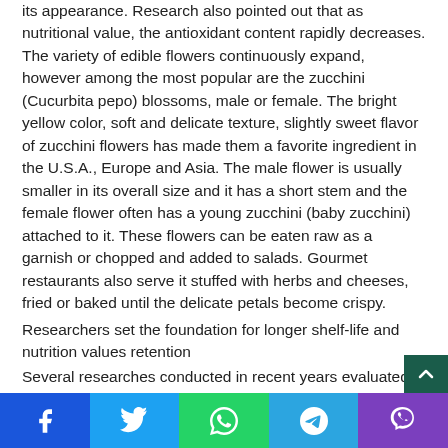its appearance. Research also pointed out that as nutritional value, the antioxidant content rapidly decreases.
The variety of edible flowers continuously expand, however among the most popular are the zucchini (Cucurbita pepo) blossoms, male or female. The bright yellow color, soft and delicate texture, slightly sweet flavor of zucchini flowers has made them a favorite ingredient in the U.S.A., Europe and Asia. The male flower is usually smaller in its overall size and it has a short stem and the female flower often has a young zucchini (baby zucchini) attached to it. These flowers can be eaten raw as a garnish or chopped and added to salads. Gourmet restaurants also serve it stuffed with herbs and cheeses, fried or baked until the delicate petals become crispy.
Researchers set the foundation for longer shelf-life and nutrition values retention
Several researches conducted in recent years evaluated the
Facebook | Twitter | WhatsApp | Telegram | Viber